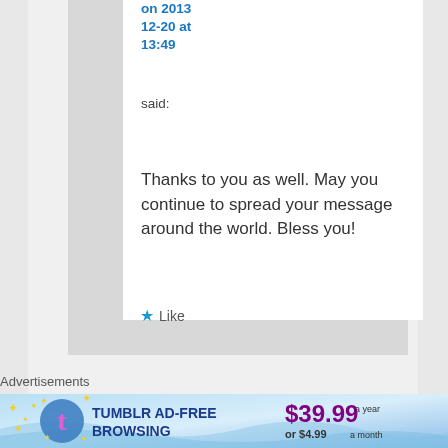on 2013 12-20 at 13:49
said:
Thanks to you as well. May you continue to spread your message around the world. Bless you!
★ Like
Advertisements
[Figure (other): Tumblr AD-FREE BROWSING advertisement banner showing $39.99 a year or $4.99 a month with Tumblr logo and sparkles]